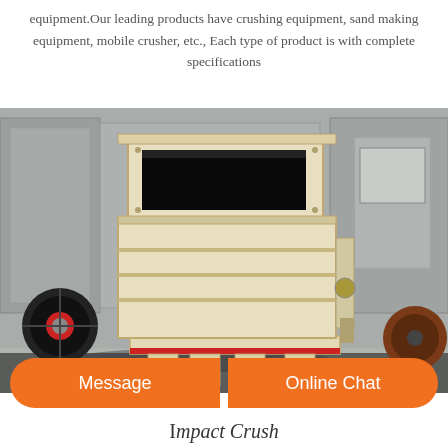equipment.Our leading products have crushing equipment, sand making equipment, mobile crusher, etc., Each type of product is with complete specifications
[Figure (photo): A large industrial impact crusher machine with cream/beige colored body, black feed opening at top, red accent stripe at base, flanked by industrial wheels, photographed outdoors in a factory yard with corrugated metal building walls in background]
Message
Online Chat
Impact Crusher